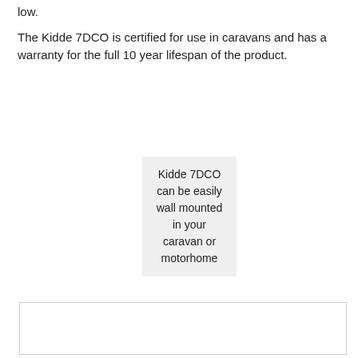low.
The Kidde 7DCO is certified for use in caravans and has a warranty for the full 10 year lifespan of the product.
[Figure (other): Grey box with text: Kidde 7DCO can be easily wall mounted in your caravan or motorhome]
[Figure (other): Empty white box with grey border at bottom of page]